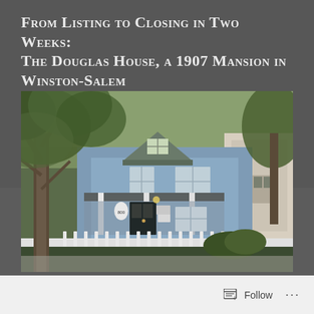From Listing to Closing in Two Weeks: The Douglas House, a 1907 Mansion in Winston-Salem
July 23, 2021
[Figure (photo): Exterior photo of the Douglas House, a blue Victorian-style two-story mansion from 1907 in Winston-Salem, with a white picket fence in front, a covered porch with white columns, large trees, and neighboring houses visible on the right.]
Follow ...